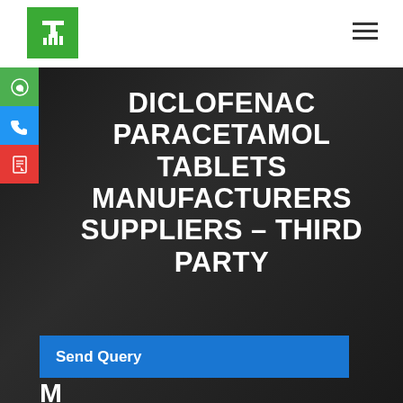[Figure (logo): Green square logo with white stylized letter T and bar chart icon]
[Figure (other): Hamburger menu icon (three horizontal lines)]
DICLOFENAC PARACETAMOL TABLETS MANUFACTURERS SUPPLIERS – THIRD PARTY
[Figure (other): Green WhatsApp icon button on left sidebar]
[Figure (other): Blue phone icon button on left sidebar]
[Figure (other): Red PDF icon button on left sidebar]
Send Query